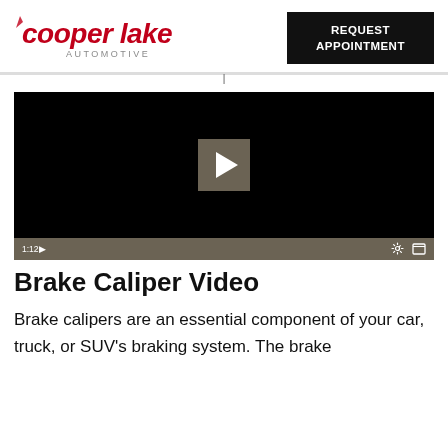[Figure (logo): Cooper Lake Automotive logo in red italic script with 'AUTOMOTIVE' in gray beneath]
REQUEST APPOINTMENT
[Figure (screenshot): Video player showing a black screen with a play button in the center and controls bar at bottom showing timestamp 1:12 and settings/fullscreen icons]
Brake Caliper Video
Brake calipers are an essential component of your car, truck, or SUV's braking system. The brake